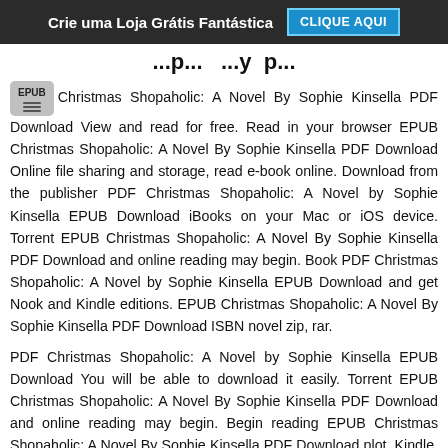Crie uma Loja Grátis Fantástica  CLIQUE AQUI
...p...y p...
EPUB Christmas Shopaholic: A Novel By Sophie Kinsella PDF Download View and read for free. Read in your browser EPUB Christmas Shopaholic: A Novel By Sophie Kinsella PDF Download Online file sharing and storage, read e-book online. Download from the publisher PDF Christmas Shopaholic: A Novel by Sophie Kinsella EPUB Download iBooks on your Mac or iOS device. Torrent EPUB Christmas Shopaholic: A Novel By Sophie Kinsella PDF Download and online reading may begin. Book PDF Christmas Shopaholic: A Novel by Sophie Kinsella EPUB Download and get Nook and Kindle editions. EPUB Christmas Shopaholic: A Novel By Sophie Kinsella PDF Download ISBN novel zip, rar.
PDF Christmas Shopaholic: A Novel by Sophie Kinsella EPUB Download You will be able to download it easily. Torrent EPUB Christmas Shopaholic: A Novel By Sophie Kinsella PDF Download and online reading may begin. Begin reading EPUB Christmas Shopaholic: A Novel By Sophie Kinsella PDF Download plot. Kindle, iPhone, Android, DOC, iPad FB2, PDF, Mobi, TXT. Share link here and get free ebooks to read online. eBook reading shares Christmas Shopaholic: A